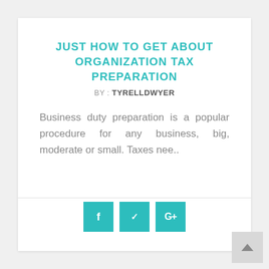JUST HOW TO GET ABOUT ORGANIZATION TAX PREPARATION
BY : TYRELLDWYER
Business duty preparation is a popular procedure for any business, big, moderate or small. Taxes nee..